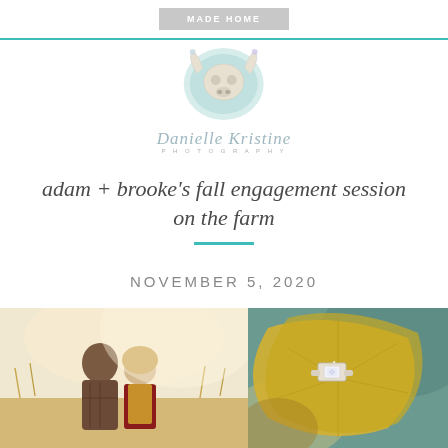MADE HOME
[Figure (logo): Danielle Kristine Photography logo with watercolor bull skull and script text]
adam + brooke's fall engagement session on the farm
NOVEMBER 5, 2020
[Figure (photo): Couple embracing in autumn field, man in plaid shirt and woman in mustard vest]
[Figure (photo): Close-up of engagement ring on autumn leaves]